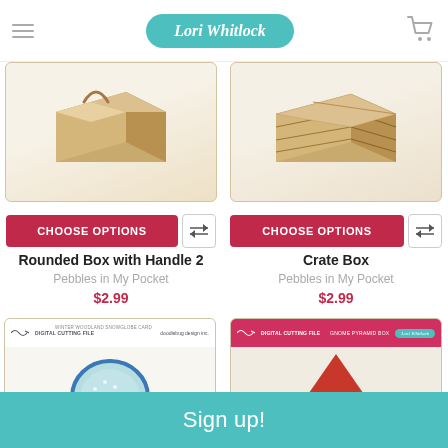Lori Whitlock
[Figure (photo): Rounded cardboard box with handle, open top, kraft paper color, product image for digital cutting file]
[Figure (photo): Crate box with slat lines, kraft paper color, product image for digital cutting file]
CHOOSE OPTIONS
CHOOSE OPTIONS
Rounded Box with Handle 2
Pebbles in My Pocket
$2.99
Crate Box
Pebbles in My Pocket
$2.99
[Figure (photo): Winter Woodland Snowglobe card digital cutting file packaging, circular snowglobe design with blue and teal polka dot pattern]
[Figure (photo): Gnome Pyramid Box digital cutting file packaging, gnome hat design in red and white with holly]
Sign up!